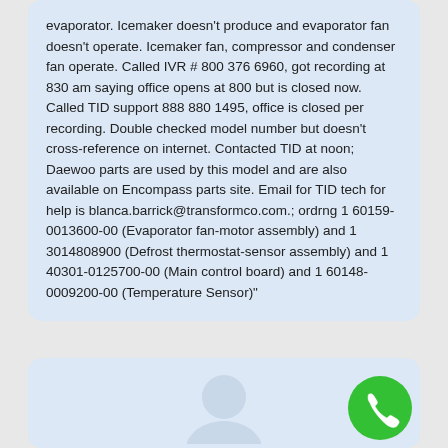evaporator. Icemaker doesn't produce and evaporator fan doesn't operate. Icemaker fan, compressor and condenser fan operate. Called IVR # 800 376 6960, got recording at 830 am saying office opens at 800 but is closed now. Called TID support 888 880 1495, office is closed per recording. Double checked model number but doesn't cross-reference on internet. Contacted TID at noon; Daewoo parts are used by this model and are also available on Encompass parts site. Email for TID tech for help is blanca.barrick@transformco.com.; ordrng 1 60159-0013600-00 (Evaporator fan-motor assembly) and 1 3014808900 (Defrost thermostat-sensor assembly) and 1 40301-0125700-00 (Main control board) and 1 60148-0009200-00 (Temperature Sensor)"
[Figure (screenshot): Bottom chat bubble with a green phone call button (circle with phone icon) in the bottom-right corner, and a partial profile/contact icon in the center-bottom area.]